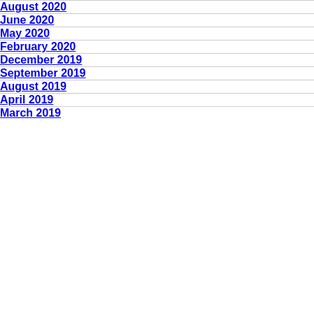August 2020
June 2020
May 2020
February 2020
December 2019
September 2019
August 2019
April 2019
March 2019